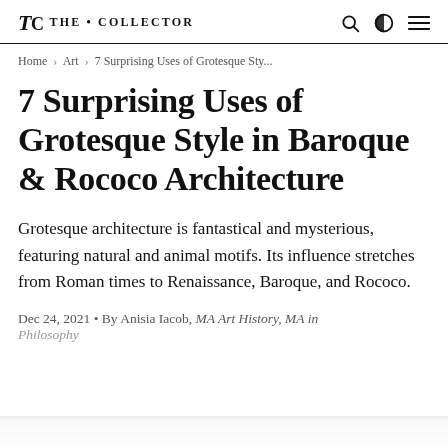TC THE • COLLECTOR
Home > Art > 7 Surprising Uses of Grotesque Sty...
7 Surprising Uses of Grotesque Style in Baroque & Rococo Architecture
Grotesque architecture is fantastical and mysterious, featuring natural and animal motifs. Its influence stretches from Roman times to Renaissance, Baroque, and Rococo.
Dec 24, 2021 • By Anisia Iacob, MA Art History, MA in Philosophy